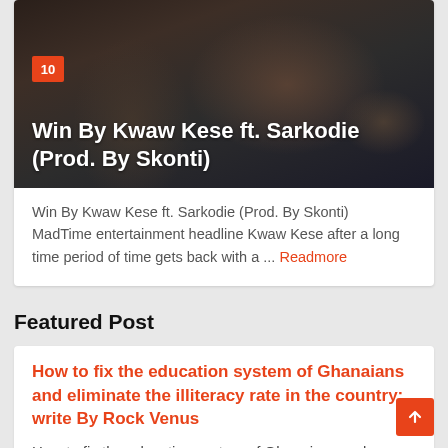[Figure (photo): Dark photo of people (article thumbnail image) with orange badge number '10' and white overlay title text 'Win By Kwaw Kese ft. Sarkodie (Prod. By Skonti)']
Win By Kwaw Kese ft. Sarkodie (Prod. By Skonti)  MadTime entertainment headline Kwaw Kese after a long time period of time gets back with a ... Readmore
Featured Post
How to fix the education system of Ghanaians and eliminate the illiteracy rate in the country: write By Rock Venus
How to fix the education system of Ghanaians and eliminate the illiteracy rate in the country: write By Rock Venus -